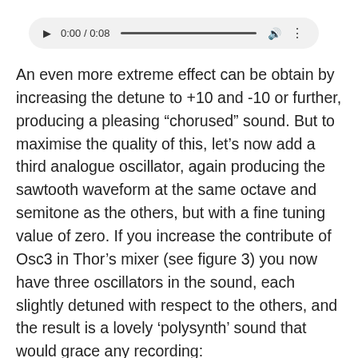[Figure (other): Audio player widget showing play button, time 0:00 / 0:08, progress bar, volume icon, and more options icon]
An even more extreme effect can be obtain by increasing the detune to +10 and -10 or further, producing a pleasing “chorused” sound. But to maximise the quality of this, let’s now add a third analogue oscillator, again producing the sawtooth waveform at the same octave and semitone as the others, but with a fine tuning value of zero. If you increase the contribute of Osc3 in Thor’s mixer (see figure 3) you now have three oscillators in the sound, each slightly detuned with respect to the others, and the result is a lovely ‘polysynth’ sound that would grace any recording: